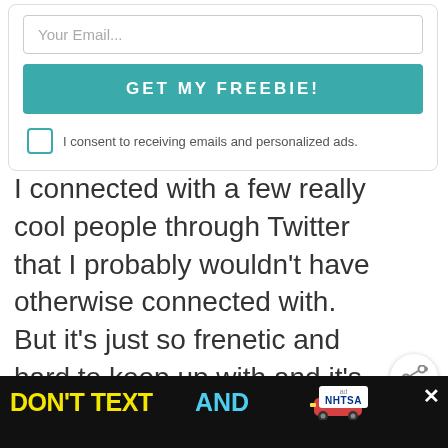Your Email...
GET MY FREEBIE!
I consent to receiving emails and personalized ads.
I connected with a few really cool people through Twitter that I probably wouldn't have otherwise connected with. But it's just so frenetic and hard to keep up with and it's just a steady stream of never-ending… stuff.
[Figure (screenshot): Share button icon]
[Figure (screenshot): WHAT'S NEXT arrow — globe icon with How Many Continents... label]
[Figure (screenshot): Ad banner: DON'T TEXT AND [car emoji] with NHTSA logo and close button]
[Figure (screenshot): reCAPTCHA widget partial]